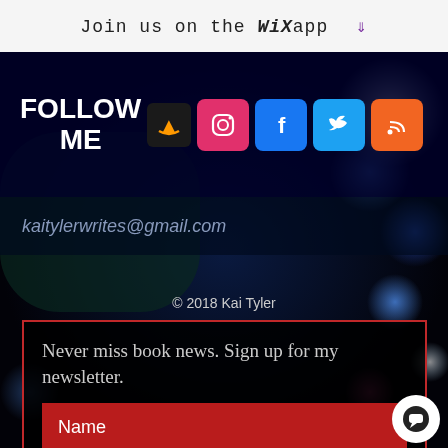Join us on the WiX app ⬇
FOLLOW ME
[Figure (logo): Social media icons: Amazon, Instagram, Facebook, Twitter, RSS]
kaitylerwrites@gmail.com
© 2018 Kai Tyler
Never miss book news. Sign up for my newsletter.
Name
Email Address
Subscribe Now